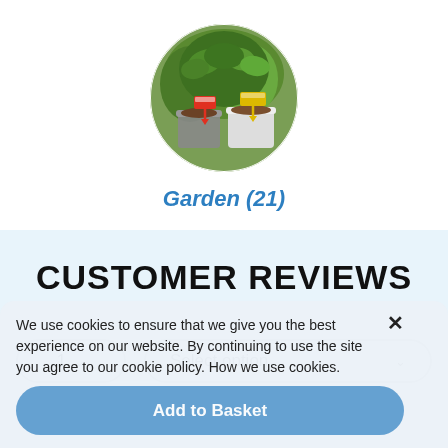[Figure (photo): Circular photo of potted herb plants with red and yellow label stakes in garden pots]
Garden (21)
CUSTOMER REVIEWS
1  ˅
Select option  ˅
We use cookies to ensure that we give you the best experience on our website. By continuing to use the site you agree to our cookie policy. How we use cookies.